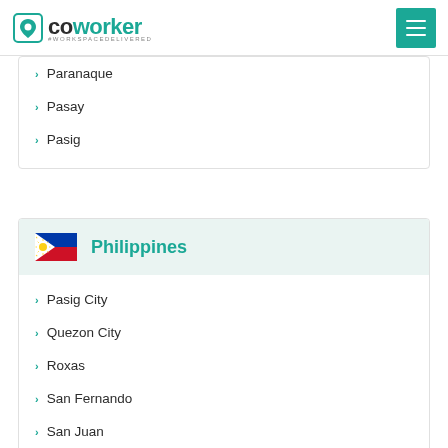coworker #WORKSPACEDELIVERED
Paranaque
Pasay
Pasig
Philippines
Pasig City
Quezon City
Roxas
San Fernando
San Juan
Silang
Taguig
Tagum